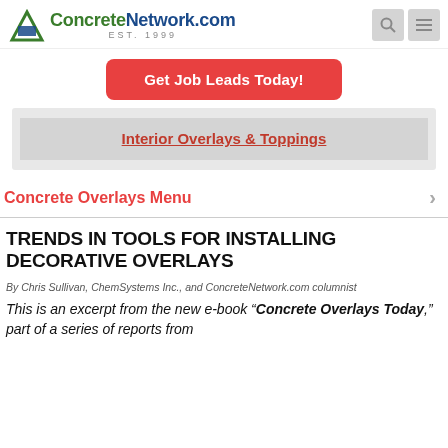ConcreteNetwork.com EST. 1999
Get Job Leads Today!
Interior Overlays & Toppings
Concrete Overlays Menu
TRENDS IN TOOLS FOR INSTALLING DECORATIVE OVERLAYS
By Chris Sullivan, ChemSystems Inc., and ConcreteNetwork.com columnist
This is an excerpt from the new e-book “Concrete Overlays Today,” part of a series of reports from